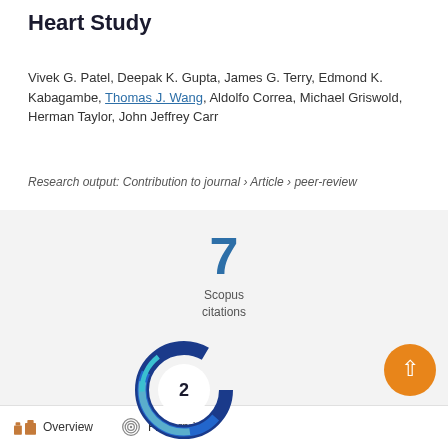Heart Study
Vivek G. Patel, Deepak K. Gupta, James G. Terry, Edmond K. Kabagambe, Thomas J. Wang, Aldolfo Correa, Michael Griswold, Herman Taylor, John Jeffrey Carr
Research output: Contribution to journal › Article › peer-review
[Figure (infographic): Scopus citations badge showing the number 7]
[Figure (donut-chart): Circular donut/badge showing the number 2 with blue swirl design]
Overview   Fingerprint